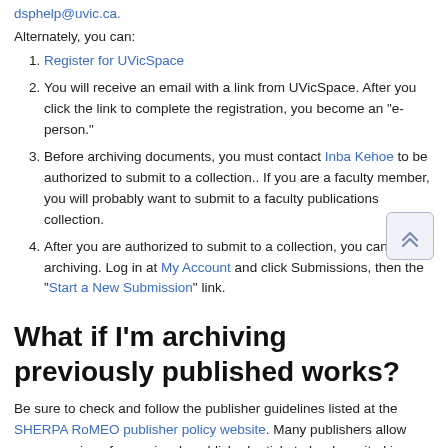dsphelp@uvic.ca.
Alternately, you can:
Register for UVicSpace
You will receive an email with a link from UVicSpace. After you click the link to complete the registration, you become an "e-person."
Before archiving documents, you must contact Inba Kehoe to be authorized to submit to a collection.. If you are a faculty member, you will probably want to submit to a faculty publications collection.
After you are authorized to submit to a collection, you can start archiving. Log in at My Account and click Submissions, then the "Start a New Submission" link.
What if I'm archiving previously published works?
Be sure to check and follow the publisher guidelines listed at the SHERPA RoMEO publisher policy website. Many publishers allow some version of a previously published article to be deposited in an open access repository like UVicSpace, as long as you follow their conditions.